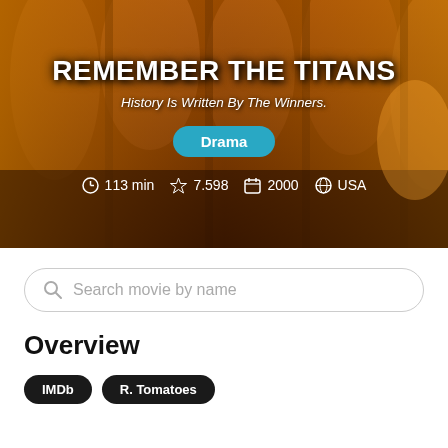[Figure (photo): Movie poster for Remember the Titans showing faces of several actors with orange/amber warm tones and vertical strip layout]
REMEMBER THE TITANS
History Is Written By The Winners.
Drama
113 min  7.598  2000  USA
Search movie by name
Overview
IMDb  R. Tomatoes